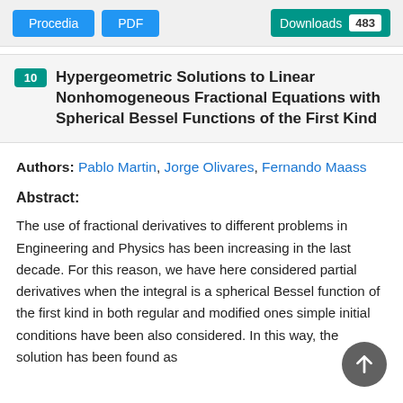Procedia  PDF  Downloads 483
10 Hypergeometric Solutions to Linear Nonhomogeneous Fractional Equations with Spherical Bessel Functions of the First Kind
Authors: Pablo Martin, Jorge Olivares, Fernando Maass
Abstract:
The use of fractional derivatives to different problems in Engineering and Physics has been increasing in the last decade. For this reason, we have here considered partial derivatives when the integral is a spherical Bessel function of the first kind in both regular and modified ones simple initial conditions have been also considered. In this way, the solution has been found as